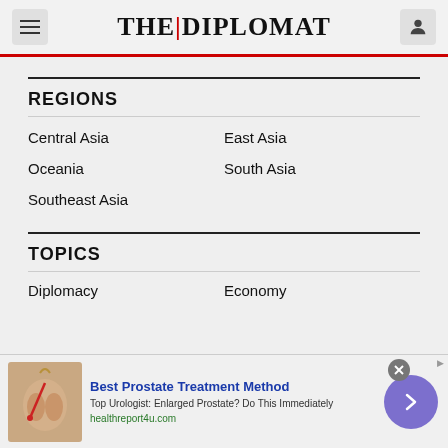THE DIPLOMAT
REGIONS
Central Asia
East Asia
Oceania
South Asia
Southeast Asia
TOPICS
Diplomacy
Economy
[Figure (screenshot): Advertisement banner: Best Prostate Treatment Method - Top Urologist: Enlarged Prostate? Do This Immediately - healthreport4u.com]